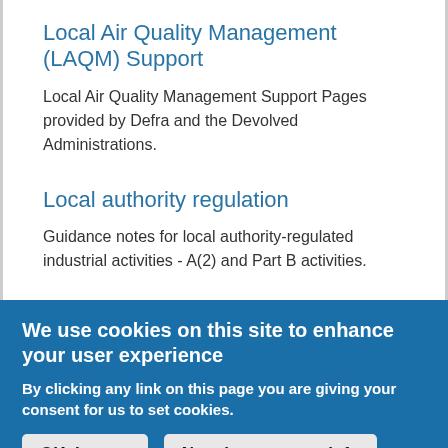Local Air Quality Management (LAQM) Support
Local Air Quality Management Support Pages provided by Defra and the Devolved Administrations.
Local authority regulation
Guidance notes for local authority-regulated industrial activities - A(2) and Part B activities.
We use cookies on this site to enhance your user experience
By clicking any link on this page you are giving your consent for us to set cookies.
OK, I agree   No, give me more info